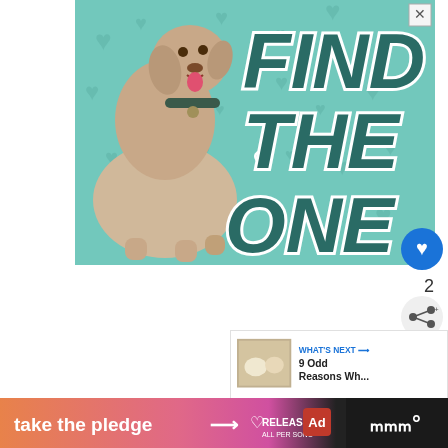[Figure (illustration): Advertisement banner showing a Great Dane dog with text 'FIND THE ONE' on a teal background with heart patterns. Has an X close button in top right corner.]
2
[Figure (illustration): WHAT'S NEXT arrow label with thumbnail image for '9 Odd Reasons Wh...' article]
Instead of synthetic ones, they re
[Figure (illustration): Bottom banner ad: 'take the pledge' with arrow, RELEASE logo, and red ad badge. Black section with W logo on far right.]